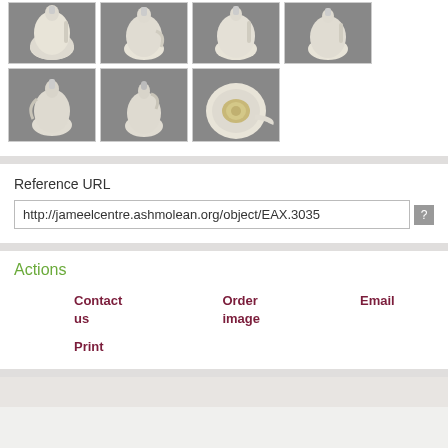[Figure (photo): Grid of ceramic ewer/pitcher photos on gray background - top row of 4 images, bottom row of 3 images showing different angles including bottom view]
Reference URL
http://jameelcentre.ashmolean.org/object/EAX.3035
Actions
Contact us   Order image   Email
Print